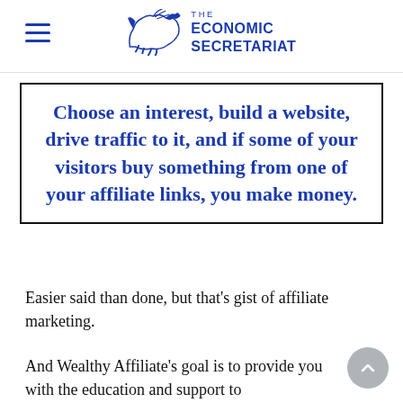THE ECONOMIC SECRETARIAT
Choose an interest, build a website, drive traffic to it, and if some of your visitors buy something from one of your affiliate links, you make money.
Easier said than done, but that’s gist of affiliate marketing.
And Wealthy Affiliate’s goal is to provide you with the education and support to